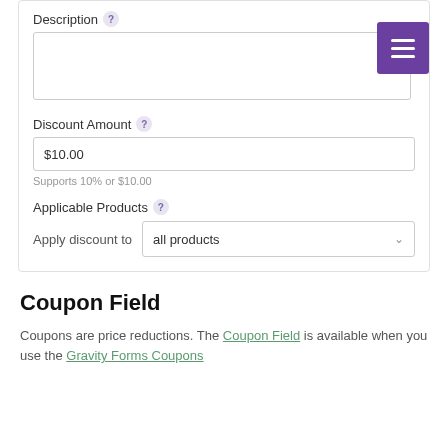Description
[Figure (screenshot): Description textarea field with hamburger menu button in top right corner]
Discount Amount
$10.00
Supports 10% or $10.00
Applicable Products
Apply discount to   all products
Coupon Field
Coupons are price reductions. The Coupon Field is available when you use the Gravity Forms Coupons